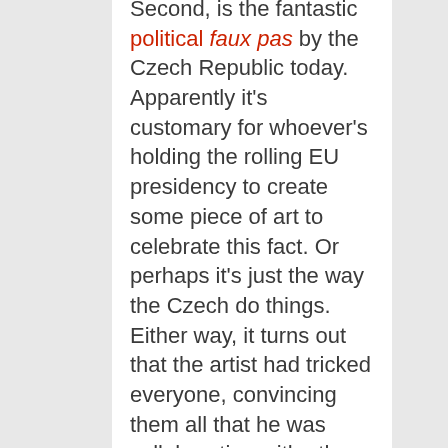Second, is the fantastic political faux pas by the Czech Republic today. Apparently it's customary for whoever's holding the rolling EU presidency to create some piece of art to celebrate this fact. Or perhaps it's just the way the Czech do things. Either way, it turns out that the artist had tricked everyone, convincing them all that he was collaborating with other artists to create this satirical masterpiece. What really happened?